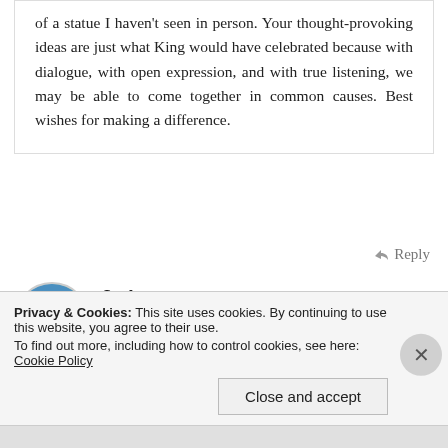of a statue I haven't seen in person. Your thought-provoking ideas are just what King would have celebrated because with dialogue, with open expression, and with true listening, we may be able to come together in common causes. Best wishes for making a difference.
↳ Reply
LuAnn says:
January 15, 2018 at 8:11 pm
Privacy & Cookies: This site uses cookies. By continuing to use this website, you agree to their use.
To find out more, including how to control cookies, see here: Cookie Policy
Close and accept